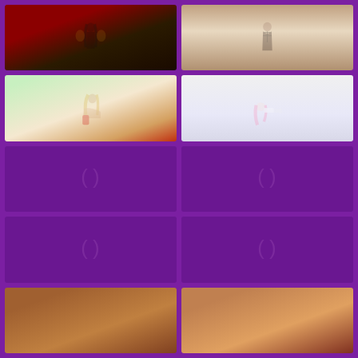[Figure (photo): Woman with long dark hair standing between gold lion statues against a red ornate background]
[Figure (photo): Woman in black strappy lingerie against a neutral background]
[Figure (photo): Blonde woman reclining on a couch with red stockings, topless, with tattoos]
[Figure (photo): Woman with pink hair wearing a maid outfit, lying on a white floor]
[Figure (photo): Loading placeholder - purple background with parentheses icon]
[Figure (photo): Loading placeholder - purple background with parentheses icon]
[Figure (photo): Loading placeholder - purple background with parentheses icon]
[Figure (photo): Loading placeholder - purple background with parentheses icon]
[Figure (photo): Partial view - woman with auburn/red hair, partially visible at bottom]
[Figure (photo): Partial view - woman with light hair, partially visible at bottom]